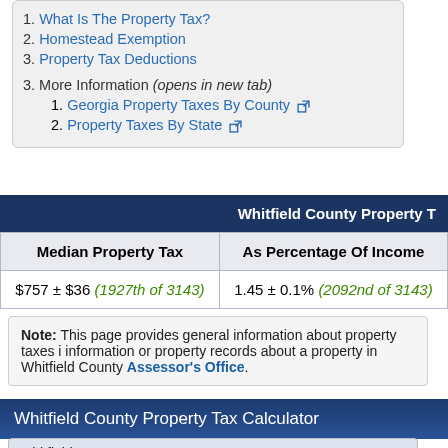1. What Is The Property Tax?
2. Homestead Exemption
3. Property Tax Deductions
3. More Information (opens in new tab)
1. Georgia Property taxes By County
2. Property Taxes By State
| Whitfield County Property T... | Median Property Tax | As Percentage Of Income |
| --- | --- | --- |
| $757 ± $36 (1927th of 3143) | 1.45 ± 0.1% (2092nd of 3143) |
Note: This page provides general information about property taxes in information or property records about a property in Whitfield County Assessor's Office.
Whitfield County Property Tax Calculator
Whitfield County ca...